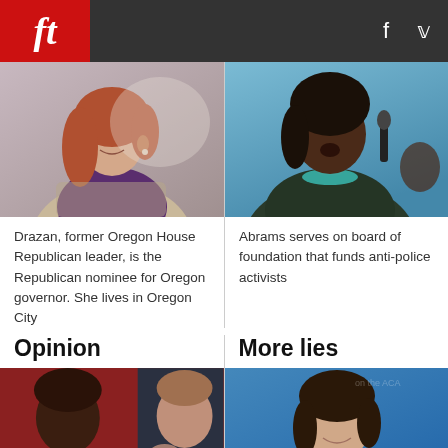ft  [social icons: f, twitter]
[Figure (photo): Woman with auburn/red hair smiling, wearing a purple top and patterned blazer, light background]
Drazan, former Oregon House Republican leader, is the Republican nominee for Oregon governor. She lives in Oregon City
[Figure (photo): Black woman speaking at a microphone against a blue background, wearing teal necklace]
Abrams serves on board of foundation that funds anti-police activists
Opinion
[Figure (photo): Two men: a Black man on left with red backdrop, and a white man on right gesturing with hand raised]
More lies
[Figure (photo): White woman with dark hair smiling in front of a blue backdrop]